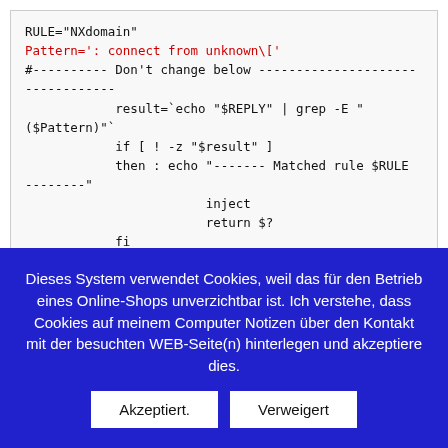RULE="NXdomain"
Pattern=': connect from unknown\['
#---------- Don't change below ---------------------
------------
            result=`echo "$REPLY" | grep -E "($Pattern)"`
            if [ ! -z "$result" ]
            then : echo "------- Matched rule $RULE --------"
                        inject
                        return $?
            fi
#--------------------------------------------------
------------
Dieses System verwendet Cookies, weil das für den Betrieb eines Online-Shops unverzichtbar ist. Ich verstehe, dass Cookies auf meinem Computer Notizen über den Kontakt mit der besuchten WEB-Seite(n) hinterlegen und akzeptiere dies.